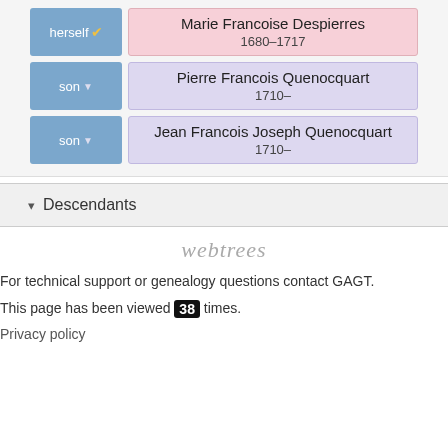[Figure (screenshot): Genealogy record rows showing 'herself' linked to Marie Francoise Despierres (1680-1717), 'son' linked to Pierre Francois Quenocquart (1710-), and 'son' linked to Jean Francois Joseph Quenocquart (1710-)]
▾ Descendants
[Figure (logo): webtrees logo text in gray italic]
For technical support or genealogy questions contact GAGT.
This page has been viewed 38 times.
Privacy policy